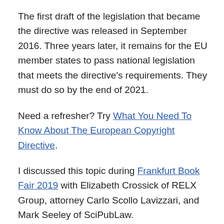The first draft of the legislation that became the directive was released in September 2016. Three years later, it remains for the EU member states to pass national legislation that meets the directive's requirements. They must do so by the end of 2021.
Need a refresher? Try What You Need To Know About The European Copyright Directive.
I discussed this topic during Frankfurt Book Fair 2019 with Elizabeth Crossick of RELX Group, attorney Carlo Scollo Lavizzari, and Mark Seeley of SciPubLaw.